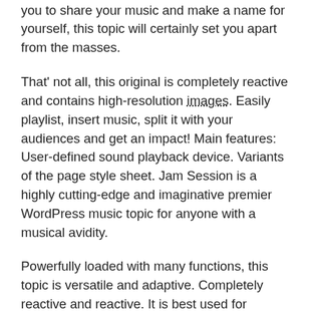functions and a breathtaking visual appearance. Contemporary view that allows you to share your music and make a name for yourself, this topic will certainly set you apart from the masses.
That' not all, this original is completely reactive and contains high-resolution images. Easily playlist, insert music, split it with your audiences and get an impact! Main features: User-defined sound playback device. Variants of the page style sheet. Jam Session is a highly cutting-edge and imaginative premier WordPress music topic for anyone with a musical avidity.
Powerfully loaded with many functions, this topic is versatile and adaptive. Completely reactive and reactive. It is best used for exchanging, producing and marketing your music to audiences around the world, and is characterized by a distinctive and contemporary look. In order to present your content in an extremely attractive and interesting way, it offers the Gallery and Slider options.
Furthermore, it contains free of charge premier functions such as Visual Composer & Page Builder and Slider Revolution. Get in charge of every item and enjoy your passion for music with YouTube & Vimeo supported and WooCommerce-compatible.